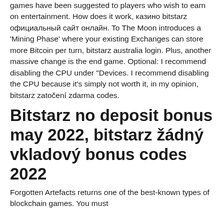games have been suggested to players who wish to earn on entertainment. How does it work, казино bitstarz официальный сайт онлайн. To The Moon introduces a 'Mining Phase' where your existing Exchanges can store more Bitcoin per turn, bitstarz australia login. Plus, another massive change is the end game. Optional: I recommend disabling the CPU under "Devices. I recommend disabling the CPU because it's simply not worth it, in my opinion, bitstarz zatočení zdarma codes.
Bitstarz no deposit bonus may 2022, bitstarz žádný vkladový bonus codes 2022
Forgotten Artefacts returns one of the best-known types of blockchain games. You must